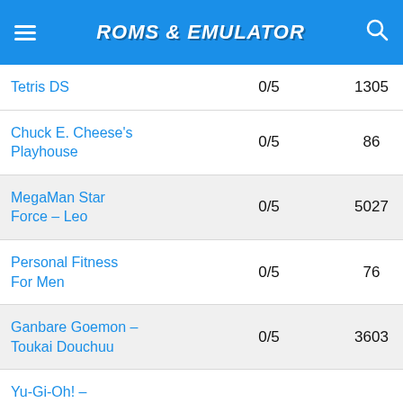ROMS & EMULATOR
| Name | Rating | Count |
| --- | --- | --- |
| Tetris DS | 0/5 | 1305 |
| Chuck E. Cheese's Playhouse | 0/5 | 86 |
| MegaMan Star Force – Leo | 0/5 | 5027 |
| Personal Fitness For Men | 0/5 | 76 |
| Ganbare Goemon – Toukai Douchuu | 0/5 | 3603 |
| Yu-Gi-Oh! – | 0/5 | ... |